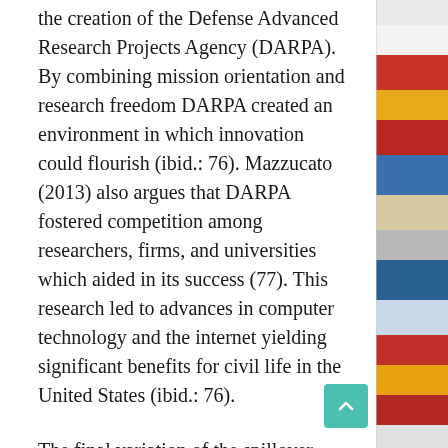the creation of the Defense Advanced Research Projects Agency (DARPA). By combining mission orientation and research freedom DARPA created an environment in which innovation could flourish (ibid.: 76). Mazzucato (2013) also argues that DARPA fostered competition among researchers, firms, and universities which aided in its success (77). This research led to advances in computer technology and the internet yielding significant benefits for civil life in the United States (ibid.: 76).
The final variation of the spillover argument explicitly identifies the technological and military superiority of the United States, and the defense
[Figure (illustration): Colorful illustrated image occupying the right side strip of the page]